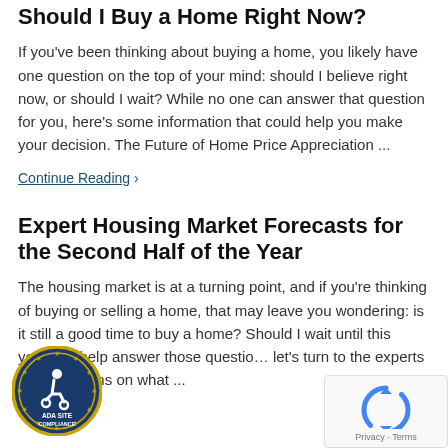Should I Buy a Home Right Now?
If you've been thinking about buying a home, you likely have one question on the top of your mind: should I believe right now, or should I wait? While no one can answer that question for you, here's some information that could help you make your decision. The Future of Home Price Appreciation ...
Continue Reading ›
Expert Housing Market Forecasts for the Second Half of the Year
The housing market is at a turning point, and if you're thinking of buying or selling a home, that may leave you wondering: is it still a good time to buy a home? Should I wait until this year? To help answer those questions, let's turn to the experts for projections on what ...